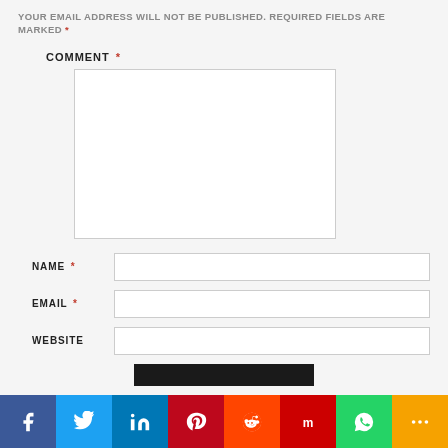YOUR EMAIL ADDRESS WILL NOT BE PUBLISHED. REQUIRED FIELDS ARE MARKED *
COMMENT *
[Figure (other): Comment textarea input box (empty)]
NAME *
EMAIL *
WEBSITE
[Figure (other): Social sharing bar with icons: Facebook, Twitter, LinkedIn, Pinterest, Reddit, Mix, WhatsApp, More]